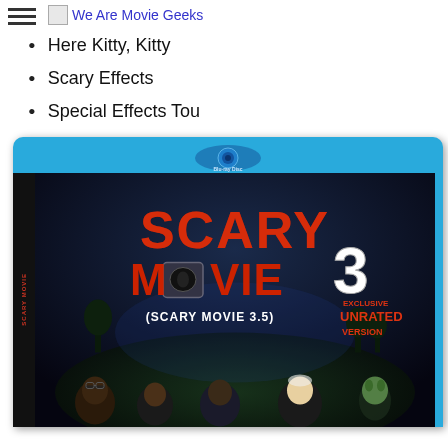We Are Movie Geeks
Here Kitty, Kitty
Scary Effects
Special Effects Tou
[Figure (photo): Blu-ray disc case for Scary Movie 3 (Scary Movie 3.5) Exclusive Unrated Version, showing cast members on front cover with dark atmospheric background and movie logo.]